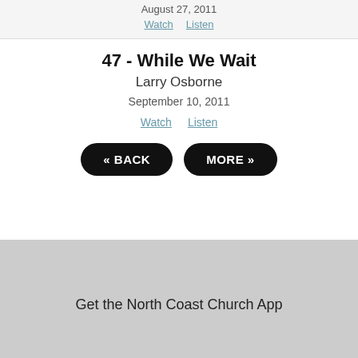August 27, 2011
Watch   Listen
47 - While We Wait
Larry Osborne
September 10, 2011
Watch   Listen
« BACK   MORE »
[Figure (infographic): Social media icons: Facebook, Instagram, YouTube]
Get the North Coast Church App